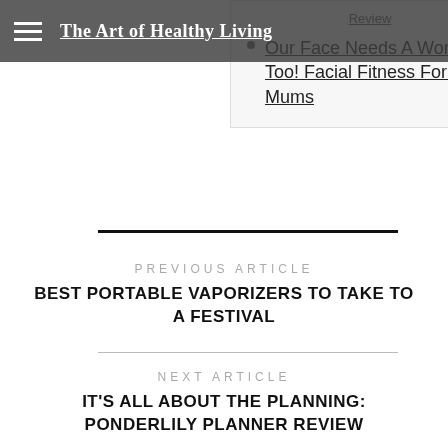The Art of Healthy Living
Review
Our Face Needs A Workout Too! Facial Fitness For Tired Mums
PREVIOUS ARTICLE
BEST PORTABLE VAPORIZERS TO TAKE TO A FESTIVAL
NEXT ARTICLE
IT'S ALL ABOUT THE PLANNING: PONDERLILY PLANNER REVIEW